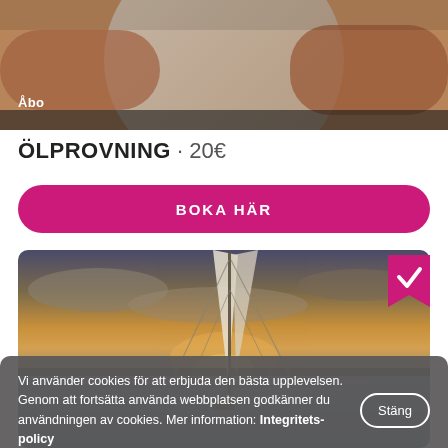[Figure (photo): Close-up photo of a person's torso/arms against a blurred circular background, with white text 'Åbo' overlaid on the lower left]
ÖLPROVNING · 20€
BOKA HÄR
[Figure (photo): Sailing photo at sunset showing boat rigging and sails against a dramatic sky reflected on calm water, with a pink checkmark bookmark badge in top-right corner]
Vi använder cookies för att erbjuda den bästa upplevelsen. Genom att fortsätta använda webbplatsen godkänner du användningen av cookies. Mer information: Integritetspolicy